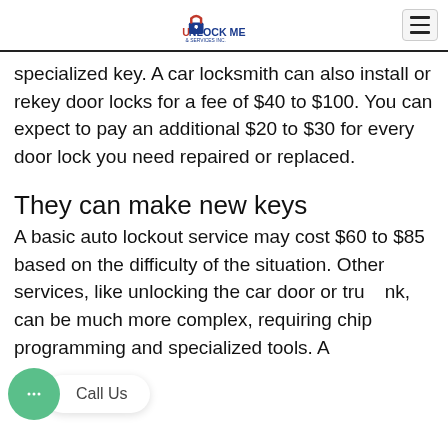Unlock Me & Services Inc. [logo] [hamburger menu]
specialized key. A car locksmith can also install or rekey door locks for a fee of $40 to $100. You can expect to pay an additional $20 to $30 for every door lock you need repaired or replaced.
They can make new keys
A basic auto lockout service may cost $60 to $85 based on the difficulty of the situation. Other services, like unlocking the car door or trunk, can be much more complex, requiring chip programming and specialized tools. A